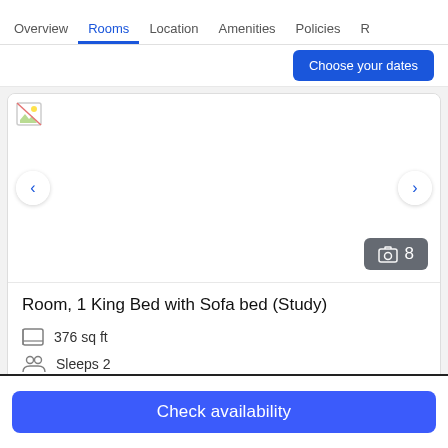Overview | Rooms | Location | Amenities | Policies | R
[Figure (screenshot): Choose your dates blue button, partially visible at top right]
[Figure (photo): Room photo placeholder with navigation arrows and photo count badge showing 8 photos]
Room, 1 King Bed with Sofa bed (Study)
376 sq ft
Sleeps 2
1 King Bed and 1 Double Sofa Bed
Check availability